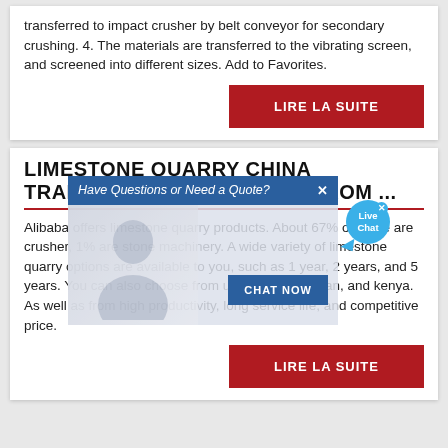transferred to impact crusher by belt conveyor for secondary crushing. 4. The materials are transferred to the vibrating screen, and screened into different sizes. Add to Favorites.
LIRE LA SUITE
LIMESTONE QUARRY CHINA TRADE, BUY CHINA DIRECT FROM ...
Alibaba offers limestone quarry products. About 67% of these are crusher, 1% are stone machinery. A wide variety of limestone quarry options are available to you, such as 1 year, 2 years, and 5 years. You can also choose from united states, japan, and kenya. As well as from high productivity, long service life, and competitive price.
LIRE LA SUITE
[Figure (other): Pop-up advertisement overlay showing a customer service representative with headset. Blue banner reads 'Have Questions or Need a Quote?' with a close button. Blue 'CHAT NOW' button below. Live Chat bubble in top right corner.]